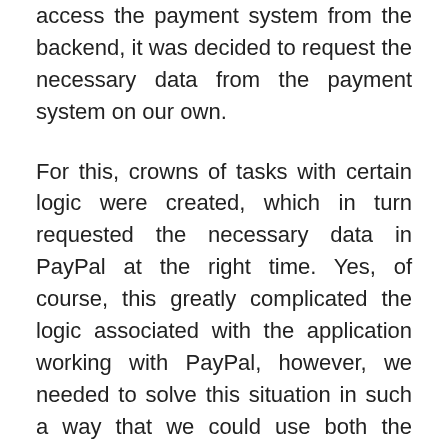access the payment system from the backend, it was decided to request the necessary data from the payment system on our own.
For this, crowns of tasks with certain logic were created, which in turn requested the necessary data in PayPal at the right time. Yes, of course, this greatly complicated the logic associated with the application working with PayPal, however, we needed to solve this situation in such a way that we could use both the PayPal payment system and the taxamo service and we succeeded. The created crowns themselves did not in any way overload the work of the server-side and did not harm the applications of...